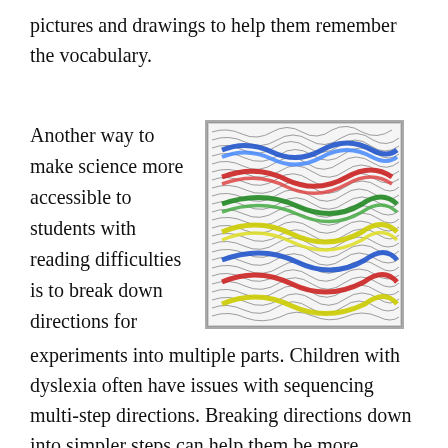pictures and drawings to help them remember the vocabulary.
Another way to make science more accessible to students with reading difficulties is to break down directions for experiments into multiple parts. Children with dyslexia often have issues with sequencing multi-step directions. Breaking directions down into simpler steps can help them be more successful.
[Figure (illustration): Abstract colorful artwork showing swirling patterns with colored wavy bands (blue, red, green, yellow) against a black and white intricate background of curved lines and spirals.]